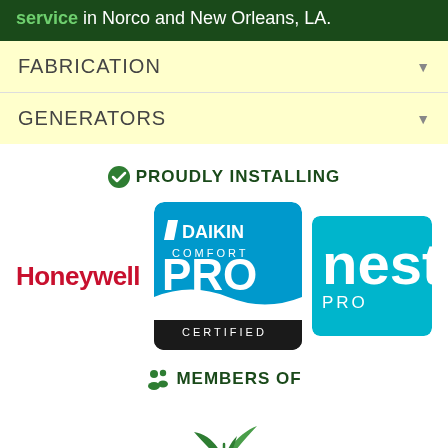service in Norco and New Orleans, LA.
FABRICATION
GENERATORS
PROUDLY INSTALLING
[Figure (logo): Honeywell logo in red text, Daikin Comfort PRO Certified badge in blue, Nest PRO badge in blue]
MEMBERS OF
[Figure (logo): Green sprout/plant logo at bottom]